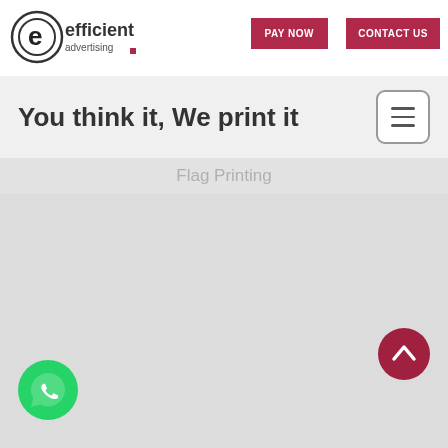[Figure (logo): Efficient Advertising logo with circular 'e' icon and text 'efficient advertising']
[Figure (other): PAY NOW button (dark red/crimson rectangle)]
[Figure (other): CONTACT US button (dark red/crimson rectangle)]
You think it, We print it
[Figure (other): Hamburger menu icon button with three horizontal bars]
Flag Printing
[Figure (other): Scroll-to-top circular dark red button with upward chevron arrow]
[Figure (other): WhatsApp circular green button with phone handset icon]